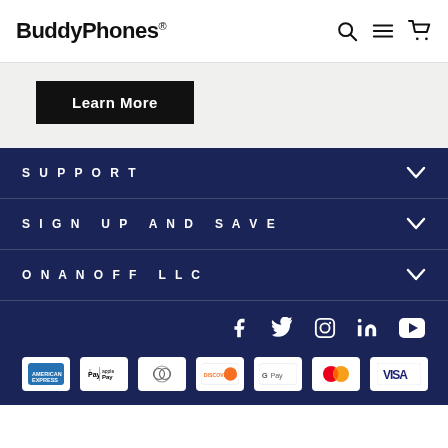BuddyPhones®
Learn More
SUPPORT
SIGN UP AND SAVE
ONANOFF LLC
[Figure (other): Social media icons: Facebook, Twitter, Instagram, LinkedIn, YouTube]
[Figure (other): Payment method logos: American Express, Apple Pay, Diners Club, Discover, Google Pay, Mastercard, Visa]